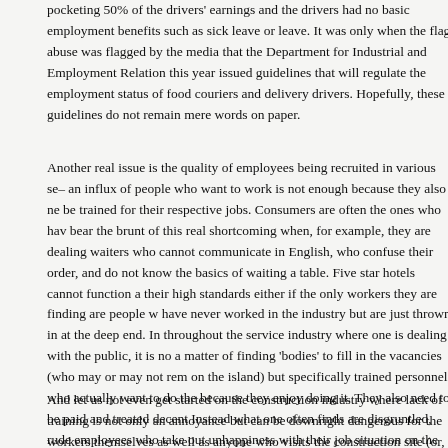pocketing 50% of the drivers' earnings and the drivers had no basic employment benefits such as sick leave or leave. It was only when the flag abuse was flagged by the media that the Department for Industrial and Employment Relation this year issued guidelines that will regulate the employment status of food couriers and delivery drivers. Hopefully, these guidelines do not remain mere words on paper.
Another real issue is the quality of employees being recruited in various se– an influx of people who want to work is not enough because they also ne be trained for their respective jobs. Consumers are often the ones who hav bear the brunt of this real shortcoming when, for example, they are dealing waiters who cannot communicate in English, who confuse their order, and do not know the basics of waiting a table. Five star hotels cannot function a their high standards either if the only workers they are finding are people w have never worked in the industry but are just thrown in at the deep end. In throughout the service industry where one is dealing with the public, it is no a matter of finding 'bodies' to fill in the vacancies (who may or may not rem on the island) but specifically trained personnel who actually want to do the because they enjoy doing it. They also need to be paid and treated decent Instead what one often finds are disgruntled, rude employees who take out unhappiness with their job situation on the hapless customer.
And let us not even get started on the construction industry where lack of training is not only an annoyance but can be downright dangerous for the workers themselves as well as anyone who visits the construction site (or,